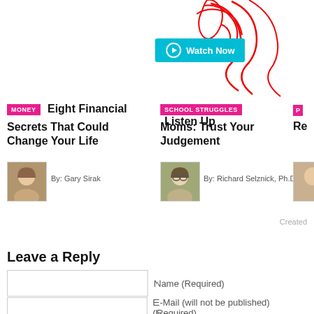[Figure (illustration): Red decorative line drawing (face/hair silhouette) in top right corner]
[Figure (other): Cyan/teal 'Watch Now' button with play icon]
MONEY
Eight Financial Secrets That Could Change Your Life
[Figure (photo): Headshot of Gary Sirak, older man]
By: Gary Sirak
SCHOOL STRUGGLES
Listen Up Moms: Trust Your Judgement
[Figure (photo): Headshot of Richard Selznick, older man with glasses]
By: Richard Selznick, Ph.D
P
Re
Created
Leave a Reply
Name (Required)
E-Mail (will not be published) (Required)